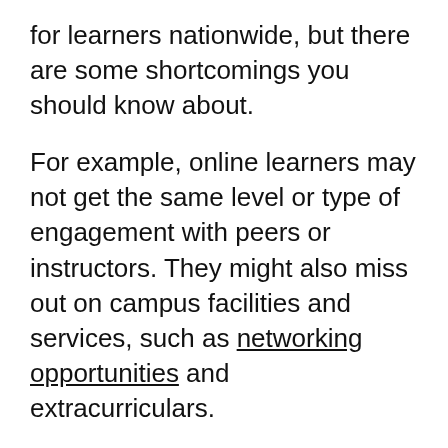for learners nationwide, but there are some shortcomings you should know about.
For example, online learners may not get the same level or type of engagement with peers or instructors. They might also miss out on campus facilities and services, such as networking opportunities and extracurriculars.
Online colleges can also offer a cheaper, more flexible alternative to a traditional degree that may help you advance your goals. You can supplement your experience by networking with your peers, finding internship opportunities, taking extra classes, and more.